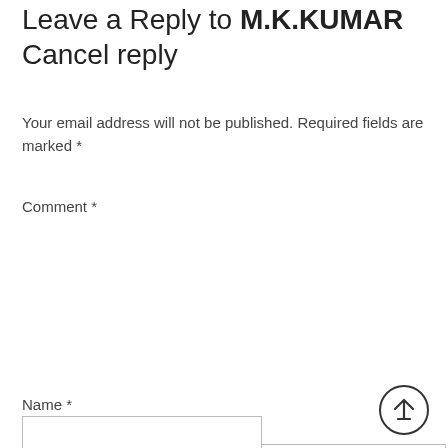Leave a Reply to M.K.KUMAR Cancel reply
Your email address will not be published. Required fields are marked *
Comment *
Name *
[Figure (illustration): Scroll to top button: circle with an upward arrow icon]